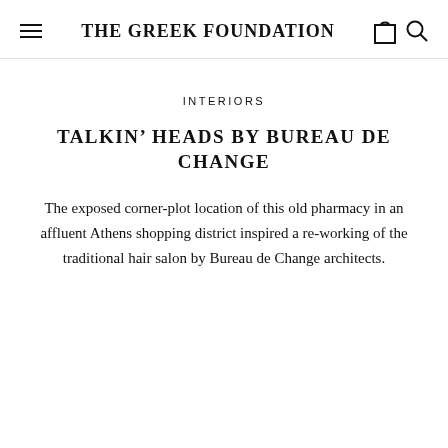THE GREEK FOUNDATION
INTERIORS
TALKIN' HEADS BY BUREAU DE CHANGE
The exposed corner-plot location of this old pharmacy in an affluent Athens shopping district inspired a re-working of the traditional hair salon by Bureau de Change architects.